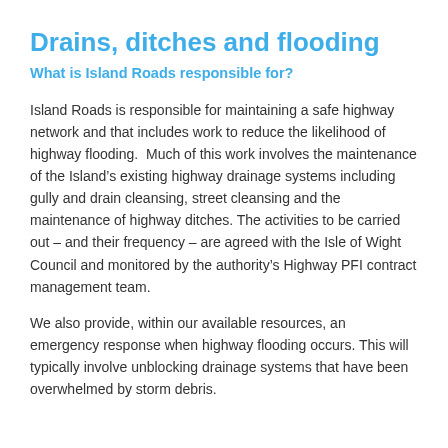Drains, ditches and flooding
What is Island Roads responsible for?
Island Roads is responsible for maintaining a safe highway network and that includes work to reduce the likelihood of highway flooding.  Much of this work involves the maintenance of the Island’s existing highway drainage systems including gully and drain cleansing, street cleansing and the maintenance of highway ditches. The activities to be carried out – and their frequency – are agreed with the Isle of Wight Council and monitored by the authority’s Highway PFI contract management team.
We also provide, within our available resources, an emergency response when highway flooding occurs. This will typically involve unblocking drainage systems that have been overwhelmed by storm debris.